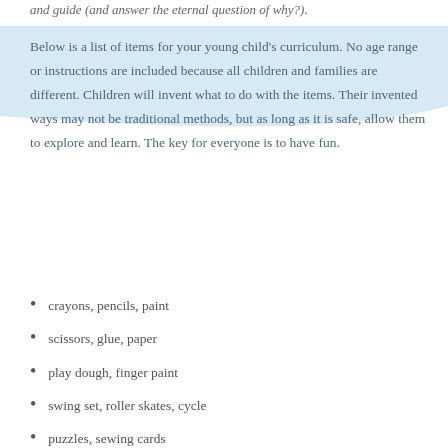and guide (and answer the eternal question of why?).
Below is a list of items for your young child's curriculum. No age range or instructions are included because all children and families are different. Children will invent what to do with the items. Their invented ways may not be traditional methods, but as long as it is safe, allow them to explore and learn. The key for everyone is to have fun.
crayons, pencils, paint
scissors, glue, paper
play dough, finger paint
swing set, roller skates, cycle
puzzles, sewing cards
picture books, read-aloud books
Bible